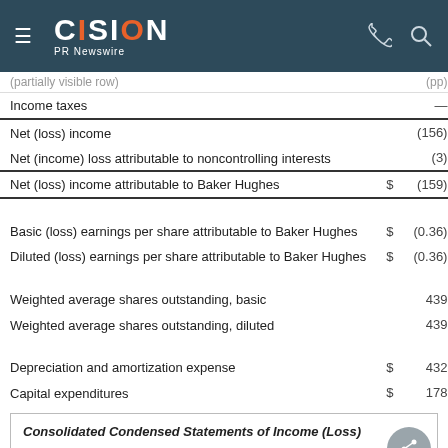CISION PR Newswire
|  | $ | Value | Value2 |
| --- | --- | --- | --- |
| Income taxes |  | — |  |
| Net (loss) income |  | (156) |  |
| Net (income) loss attributable to noncontrolling interests |  | (3) |  |
| Net (loss) income attributable to Baker Hughes | $ | (159) | $ |
| Basic (loss) earnings per share attributable to Baker Hughes | $ | (0.36) | $ |
| Diluted (loss) earnings per share attributable to Baker Hughes | $ | (0.36) | $ |
| Weighted average shares outstanding, basic |  | 439 |  |
| Weighted average shares outstanding, diluted |  | 439 |  |
| Depreciation and amortization expense | $ | 432 | $ |
| Capital expenditures | $ | 178 | $ |
Consolidated Condensed Statements of Income (Loss)
Nine Months Ended September 30,